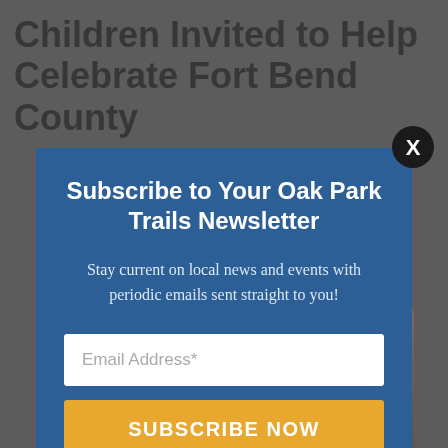Children Invited to Help Celebrate Fort Bend County
[Figure (photo): Hands reaching across a table with chess pieces, suggesting a game in progress]
Subscribe to Your Oak Park Trails Newsletter
Stay current on local news and events with periodic emails sent straight to you!
Email Address*
SUBSCRIBE NOW